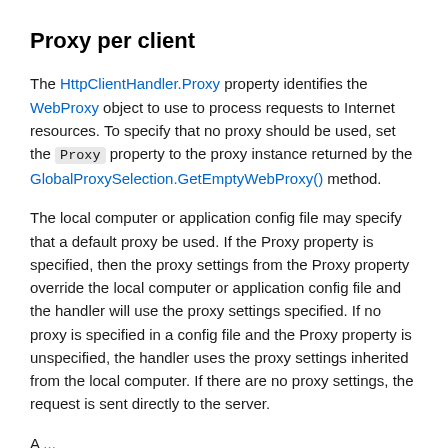Proxy per client
The HttpClientHandler.Proxy property identifies the WebProxy object to use to process requests to Internet resources. To specify that no proxy should be used, set the Proxy property to the proxy instance returned by the GlobalProxySelection.GetEmptyWebProxy() method.
The local computer or application config file may specify that a default proxy be used. If the Proxy property is specified, then the proxy settings from the Proxy property override the local computer or application config file and the handler will use the proxy settings specified. If no proxy is specified in a config file and the Proxy property is unspecified, the handler uses the proxy settings inherited from the local computer. If there are no proxy settings, the request is sent directly to the server.
...